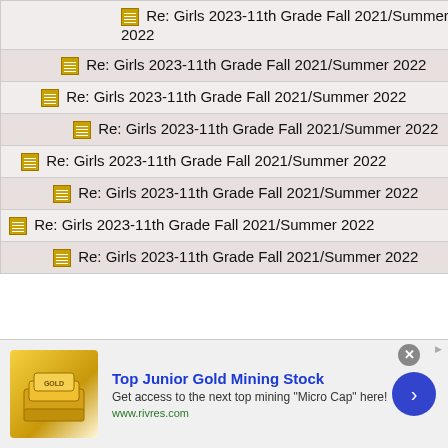| Title | Author |
| --- | --- |
| Re: Girls 2023-11th Grade Fall 2021/Summer 2022 | Anonym… |
| Re: Girls 2023-11th Grade Fall 2021/Summer 2022 | Anonym… |
| Re: Girls 2023-11th Grade Fall 2021/Summer 2022 | Anonym… |
| Re: Girls 2023-11th Grade Fall 2021/Summer 2022 | Anonym… |
| Re: Girls 2023-11th Grade Fall 2021/Summer 2022 | Anonym… |
| Re: Girls 2023-11th Grade Fall 2021/Summer 2022 | Anonym… |
| Re: Girls 2023-11th Grade Fall 2021/Summer 2022 | Anonym… |
| Re: Girls 2023-11th Grade Fall 2021/Summer 2022 | Anonym… |
[Figure (screenshot): Advertisement banner for Top Junior Gold Mining Stock from www.rivres.com with gold bar image and arrow button]